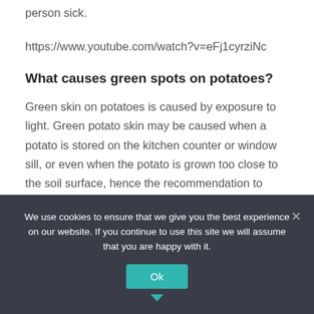vegetable is not suitable for eating and could make a person sick.
https://www.youtube.com/watch?v=eFj1cyrziNc
What causes green spots on potatoes?
Green skin on potatoes is caused by exposure to light. Green potato skin may be caused when a potato is stored on the kitchen counter or window sill, or even when the potato is grown too close to the soil surface, hence the recommendation to grow potatoes in a mound and store harvested potatoes in a completely cool, dark area.
We use cookies to ensure that we give you the best experience on our website. If you continue to use this site we will assume that you are happy with it.